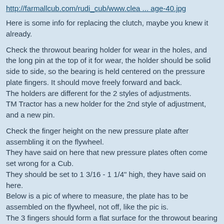http://farmallcub.com/rudi_cub/www.clea ... age-40.jpg
Here is some info for replacing the clutch, maybe you knew it already.
Check the throwout bearing holder for wear in the holes, and the long pin at the top of it for wear, the holder should be solid side to side, so the bearing is held centered on the pressure plate fingers. It should move freely forward and back.
The holders are different for the 2 styles of adjustments.
TM Tractor has a new holder for the 2nd style of adjustment, and a new pin.
Check the finger height on the new pressure plate after assembling it on the flywheel.
They have said on here that new pressure plates often come set wrong for a Cub.
They should be set to 1 3/16 - 1 1/4" high, they have said on here.
Below is a pic of where to measure, the plate has to be assembled on the flywheel, not off, like the pic is.
The 3 fingers should form a flat surface for the throwout bearing to push on.
They recommend on here to soak the new throwout bearing in light motor oil for a day before putting it in.
Then grease the grease fitting with sheen grease, so the oil in the